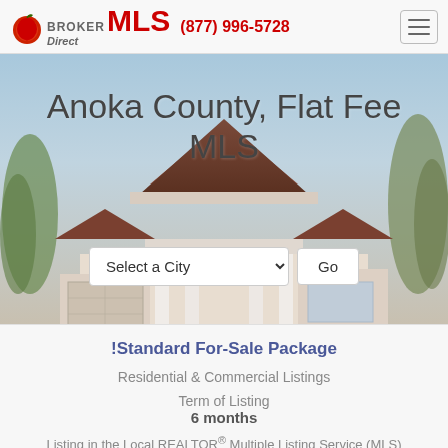Broker Direct MLS (877) 996-5728
[Figure (photo): Hero image of a house with light blue sky background, showing rooftop and gable of a suburban home with trees on sides. Overlaid with large text 'Anoka County, Flat Fee MLS' and a 'Select a City' dropdown with a 'Go' button.]
Anoka County, Flat Fee MLS
!Standard For-Sale Package
Residential & Commercial Listings
Term of Listing
6 months
Listing in the Local REALTOR® Multiple Listing Service (MLS)
¹Local MLS